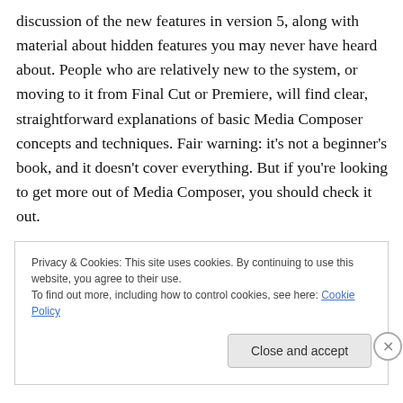discussion of the new features in version 5, along with material about hidden features you may never have heard about. People who are relatively new to the system, or moving to it from Final Cut or Premiere, will find clear, straightforward explanations of basic Media Composer concepts and techniques. Fair warning: it's not a beginner's book, and it doesn't cover everything. But if you're looking to get more out of Media Composer, you should check it out.
Privacy & Cookies: This site uses cookies. By continuing to use this website, you agree to their use.
To find out more, including how to control cookies, see here: Cookie Policy